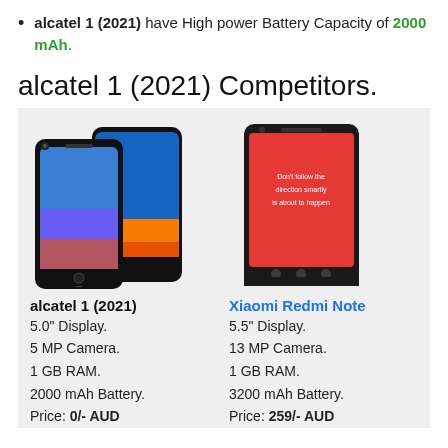alcatel 1 (2021) have High power Battery Capacity of 2000 mAh.
alcatel 1 (2021) Competitors.
[Figure (photo): Photo of Alcatel 1 (2021) smartphone in blue color, shown from front and back angles]
[Figure (photo): Photo of Xiaomi Redmi Note smartphone with red screen displaying text]
alcatel 1 (2021)
5.0" Display.
5 MP Camera.
1 GB RAM.
2000 mAh Battery.
Price: 0/- AUD
Xiaomi Redmi Note
5.5" Display.
13 MP Camera.
1 GB RAM.
3200 mAh Battery.
Price: 259/- AUD